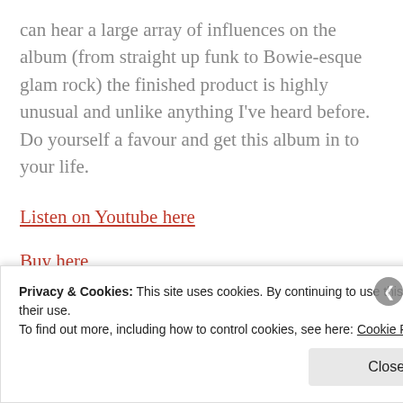can hear a large array of influences on the album (from straight up funk to Bowie-esque glam rock) the finished product is highly unusual and unlike anything I've heard before. Do yourself a favour and get this album in to your life.
Listen on Youtube here
Buy here
[Figure (photo): Dark/black abstract image, appears nearly completely black with faint light streaks or texture]
Privacy & Cookies: This site uses cookies. By continuing to use this website, you agree to their use. To find out more, including how to control cookies, see here: Cookie Policy
Close and accept